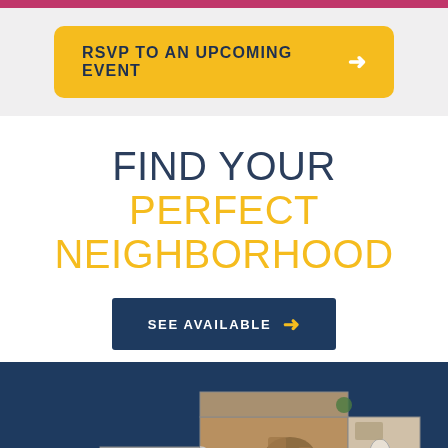RSVP TO AN UPCOMING EVENT →
FIND YOUR PERFECT NEIGHBORHOOD
SEE AVAILABLE →
[Figure (illustration): Aerial/top-down view floor plan of an apartment unit shown on a dark navy blue background, showing rooms with furniture layout in warm wood tones]